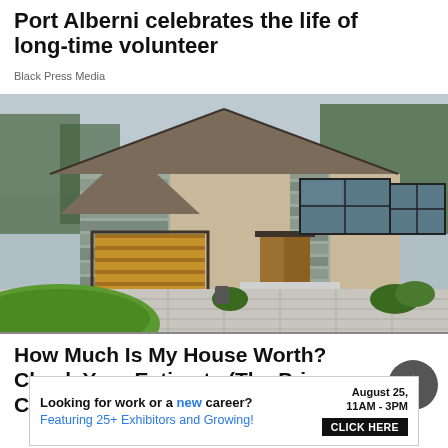Port Alberni celebrates the life of long-time volunteer
Black Press Media
[Figure (photo): Exterior photo of a large modern two-storey house with stone accents, brown garage door, wide driveway, and green lawn.]
How Much Is My House Worth? Check Your Estimate (The Price Could Surprise You)
[Figure (infographic): Advertisement banner: 'Looking for work or a new career? August 25, 11AM - 3PM. Featuring 25+ Exhibitors and Growing! CLICK HERE']